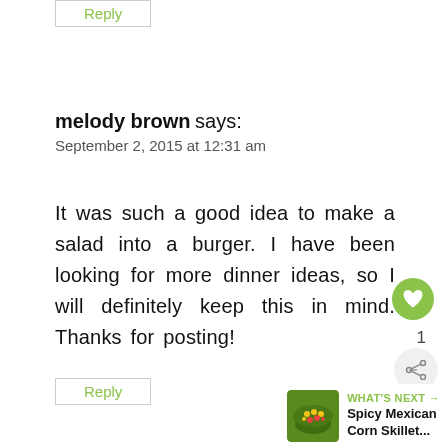Reply
melody brown says:
September 2, 2015 at 12:31 am
It was such a good idea to make a salad into a burger. I have been looking for more dinner ideas, so I will definitely keep this in mind. Thanks for posting!
Reply
WHAT'S NEXT → Spicy Mexican Corn Skillet...